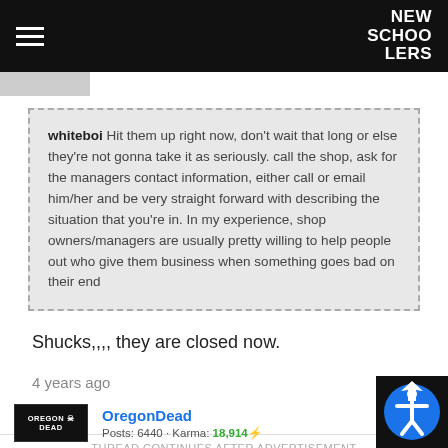NEW SCHOOLERS
whiteboi Hit them up right now, don't wait that long or else they're not gonna take it as seriously. call the shop, ask for the managers contact information, either call or email him/her and be very straight forward with describing the situation that you're in. In my experience, shop owners/managers are usually pretty willing to help people out who give them business when something goes bad on their end
Shucks,,,, they are closed now.
4 years ago
1
0
THREAD CONTINUES AFTER ADVERTISEMENT
OregonDead
Posts: 6440 · Karma: 18,914